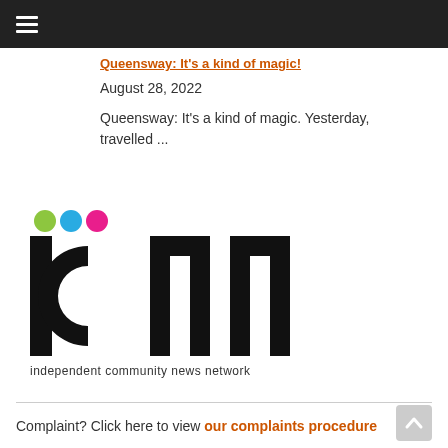Navigation bar with hamburger menu
Queensway: It's a kind of magic!
August 28, 2022
Queensway: It's a kind of magic. Yesterday, travelled ...
[Figure (logo): ICNN (independent community news network) logo with coloured dots (green, blue, pink) above stylised lowercase letters 'icnn' and tagline 'independent community news network']
Complaint? Click here to view our complaints procedure